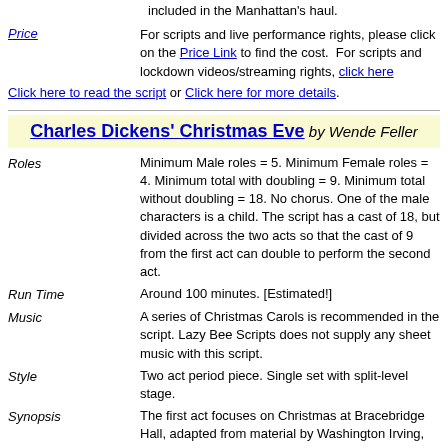included in the Manhattan's haul.
Price — For scripts and live performance rights, please click on the Price Link to find the cost. For scripts and lockdown videos/streaming rights, click here
Click here to read the script or Click here for more details.
Charles Dickens' Christmas Eve by Wende Feller
Roles — Minimum Male roles = 5. Minimum Female roles = 4. Minimum total with doubling = 9. Minimum total without doubling = 18. No chorus. One of the male characters is a child. The script has a cast of 18, but divided across the two acts so that the cast of 9 from the first act can double to perform the second act.
Run Time — Around 100 minutes. [Estimated!]
Music — A series of Christmas Carols is recommended in the script. Lazy Bee Scripts does not supply any sheet music with this script.
Style — Two act period piece. Single set with split-level stage.
Synopsis — The first act focuses on Christmas at Bracebridge Hall, adapted from material by Washington Irving, Jane Austen and Wilkie Collins. The second act is Wende Feller's adaptation of 'A Christmas Carol' by Charles Dickens
Price — For scripts and live performance rights, please click on the Price Link to find the cost. For scripts and lockdown videos/streaming rights, click here
Click here to read the script or Click here for more details.